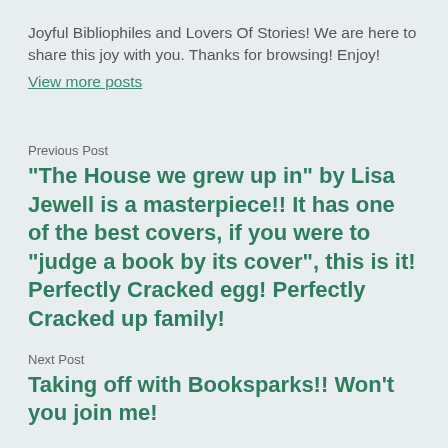Joyful Bibliophiles and Lovers Of Stories! We are here to share this joy with you. Thanks for browsing! Enjoy!
View more posts
Previous Post
“The House we grew up in” by Lisa Jewell is a masterpiece!! It has one of the best covers, if you were to “judge a book by its cover”, this is it! Perfectly Cracked egg! Perfectly Cracked up family!
Next Post
Taking off with Booksparks!! Won’t you join me!